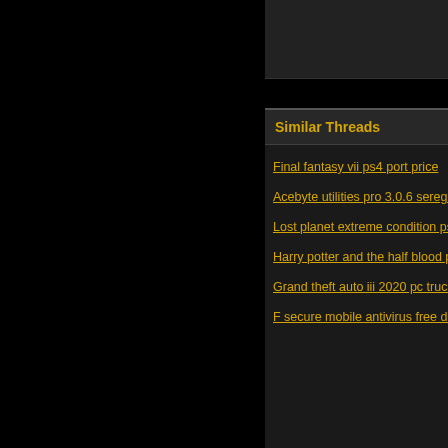Similar Threads
Final fantasy vii ps4 port price
Acebyte utilities pro 3.0.6 seregab
Lost planet extreme condition ps3
Harry potter and the half blood pri
Grand theft auto iii 2020 pc trucos
F secure mobile antivirus free dow
Bookmarks
Digg
del.icio.us
StumbleUpon
Google